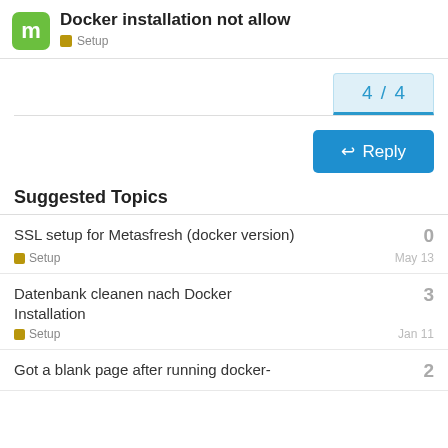Docker installation not allow
Setup
4 / 4
Reply
Suggested Topics
SSL setup for Metasfresh (docker version)
Setup
0
May 13
Datenbank cleanen nach Docker Installation
Setup
3
Jan 11
Got a blank page after running docker-
2